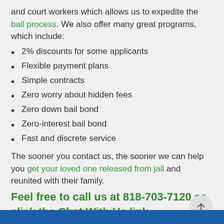and court workers which allows us to expedite the bail process. We also offer many great programs, which include:
2% discounts for some applicants
Flexible payment plans
Simple contracts
Zero worry about hidden fees
Zero down bail bond
Zero-interest bail bond
Fast and discrete service
The sooner you contact us, the sooner we can help you get your loved one released from jail and reunited with their family.
Feel free to call us at 818-703-7120 or click the Chat With Us link.